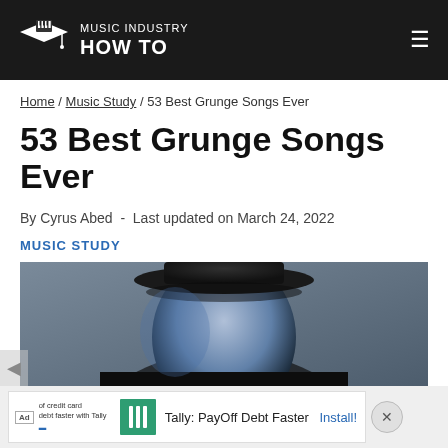MUSIC INDUSTRY HOW TO
Home / Music Study / 53 Best Grunge Songs Ever
53 Best Grunge Songs Ever
By Cyrus Abed  -  Last updated on March 24, 2022
MUSIC STUDY
[Figure (photo): Close-up photo of a person wearing a dark hat, blue-tinted lighting, appearing to be a musician in grunge style]
Ad — Tally: PayOff Debt Faster — Install!